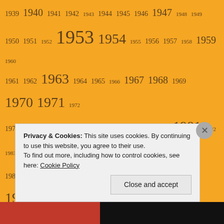1939 1940 1941 1942 1943 1944 1945 1946 1947 1948 1949 1950 1951 1952 1953 1954 1955 1956 1957 1958 1959 1960 1961 1962 1963 1964 1965 1966 1967 1968 1969 1970 1971 1972 1973 1974 1975 1976 1977 1978 1979 1980 1981 1982 1983 1984 1985 1986 1987 1988 1989 1990 1991 1992 1993 1994 1995 1996 1997 1998 1999 2000 2001 2002 2003 2004 2005 2006 2007 2008 2009 2010 2011 2012 2013 2014 2015 2016 2017 2018 2019 2020 A-Z A.J. Finn A.W. Wheen Aapbeeti Aatish Taseer A Baker's Dozen Abhyudhya Abid Rizvi Academic Mystery According to the Evidence A Clubbable Woman A Coffin for Dimitrios Across the Black Waters A Daisy Chain for Satan Adam Dalgliesh Adventure Africa After Kurukshetra Afterlife: Ghost Stories
Privacy & Cookies: This site uses cookies. By continuing to use this website, you agree to their use. To find out more, including how to control cookies, see here: Cookie Policy